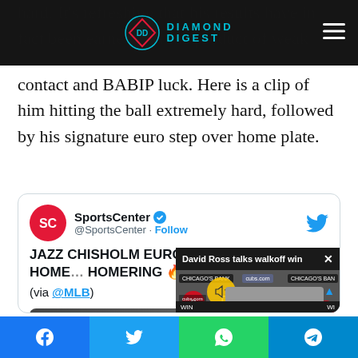Diamond Digest
hard. It's refreshing that his results have in fact been earned, not the product of weak contact and BABIP luck. Here is a clip of him hitting the ball extremely hard, followed by his signature euro step over home plate.
[Figure (screenshot): Embedded tweet from @SportsCenter showing Jazz Chisholm eurostepped across home plate after homering, with a video popup overlay showing David Ross talks walkoff win on a Cubs backdrop, and a muted video button]
Facebook | Twitter | WhatsApp | Telegram